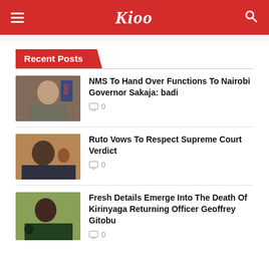Kioo
Recent Posts
NMS To Hand Over Functions To Nairobi Governor Sakaja: badi
0
Ruto Vows To Respect Supreme Court Verdict
0
Fresh Details Emerge Into The Death Of Kirinyaga Returning Officer Geoffrey Gitobu
0